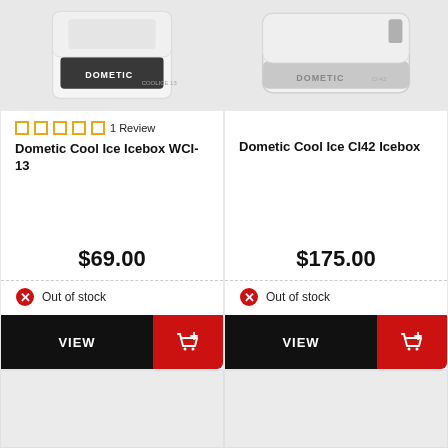[Figure (photo): Dometic Cool Ice Icebox WCI-13 product image on gray background]
★★★★★ 1 Review
Dometic Cool Ice Icebox WCI-13
$69.00
Out of stock
VIEW
[Figure (photo): Dometic Cool Ice CI42 Icebox product image on gray background]
Dometic Cool Ice CI42 Icebox
$175.00
Out of stock
VIEW